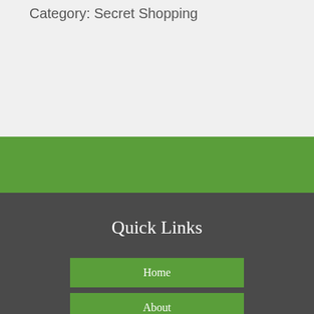Category: Secret Shopping
Quick Links
Home
About
Services
Why Choose Us
FAQ